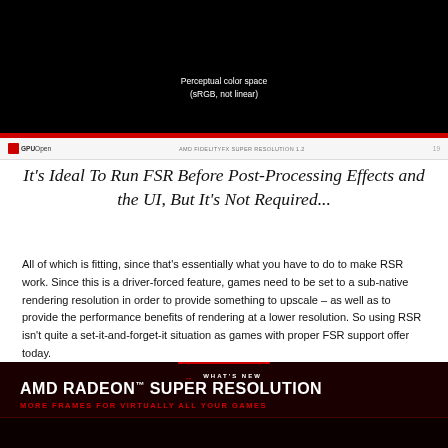[Figure (screenshot): Dark/black screenshot showing 'Perceptual color space (sRGB, not linear)' label on black background with red bar at bottom]
[Figure (screenshot): Browser bar with GPUOpen logo, AMD FidelityFX Super Resolution URL, and page number]
It's Ideal To Run FSR Before Post-Processing Effects and the UI, But It's Not Required...
All of which is fitting, since that's essentially what you have to do to make RSR work. Since this is a driver-forced feature, games need to be set to a sub-native rendering resolution in order to provide something to upscale – as well as to provide the performance benefits of rendering at a lower resolution. So using RSR isn't quite a set-it-and-forget-it situation as games with proper FSR support offer today.
[Figure (screenshot): AMD Radeon Super Resolution promotional image with text 'AMD RADEON SUPER RESOLUTION' and 'MORE FRAMES FOR VIRTUALLY ALL YOUR GAMES' on dark background with red accents, showing software UI screenshots]